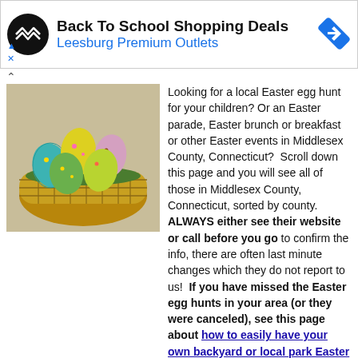[Figure (other): Advertisement banner: Back To School Shopping Deals at Leesburg Premium Outlets with logo and navigation arrow icon]
[Figure (photo): A wicker basket filled with colorful decorated Easter eggs on green grass]
Looking for a local Easter egg hunt for your children? Or an Easter parade, Easter brunch or breakfast or other Easter events in Middlesex County, Connecticut?  Scroll down this page and you will see all of those in Middlesex County, Connecticut, sorted by county. ALWAYS either see their website or call before you go to confirm the info, there are often last minute changes which they do not report to us!  If you have missed the Easter egg hunts in your area (or they were canceled), see this page about how to easily have your own backyard or local park Easter egg hunt.
If you know of one we missed and want to add it or correct the information, please let me know!      There are affiliate links on this page. Read our disclosure policy to learn more.
Updates for August 2022